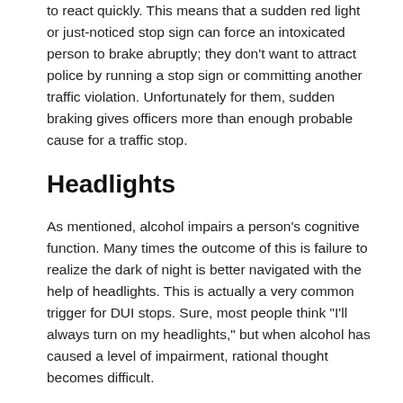to react quickly. This means that a sudden red light or just-noticed stop sign can force an intoxicated person to brake abruptly; they don't want to attract police by running a stop sign or committing another traffic violation. Unfortunately for them, sudden braking gives officers more than enough probable cause for a traffic stop.
Headlights
As mentioned, alcohol impairs a person's cognitive function. Many times the outcome of this is failure to realize the dark of night is better navigated with the help of headlights. This is actually a very common trigger for DUI stops. Sure, most people think "I'll always turn on my headlights," but when alcohol has caused a level of impairment, rational thought becomes difficult.